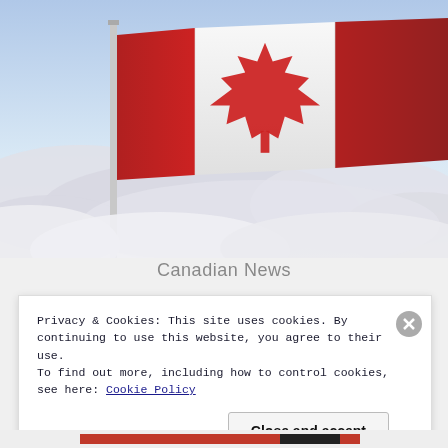[Figure (photo): Canadian flag waving against a cloudy sky. The flag is red and white with a maple leaf in the center. A flagpole is visible on the left side.]
Canadian News
Privacy & Cookies: This site uses cookies. By continuing to use this website, you agree to their use.
To find out more, including how to control cookies, see here: Cookie Policy
Close and accept